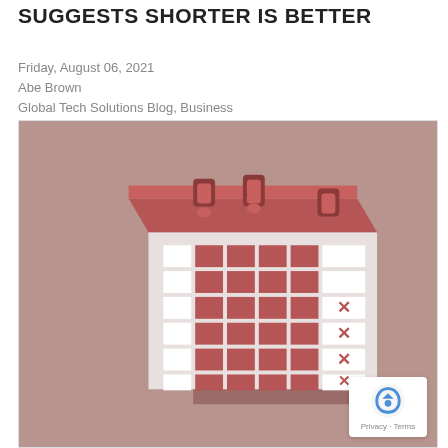SUGGESTS SHORTER IS BETTER
Friday, August 06, 2021
Abe Brown
Global Tech Solutions Blog, Business
[Figure (illustration): Isometric illustration of a calendar with red squares in a grid pattern and red X marks in the rightmost column, set against a mauve/rose background. A reCAPTCHA badge is visible in the bottom-right corner.]